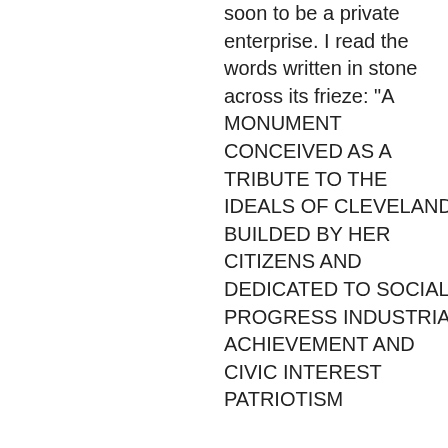soon to be a private enterprise. I read the words written in stone across its frieze: "A MONUMENT CONCEIVED AS A TRIBUTE TO THE IDEALS OF CLEVELAND BUILDED BY HER CITIZENS AND DEDICATED TO SOCIAL PROGRESS INDUSTRIAL ACHIEVEMENT AND CIVIC INTEREST PATRIOTISM